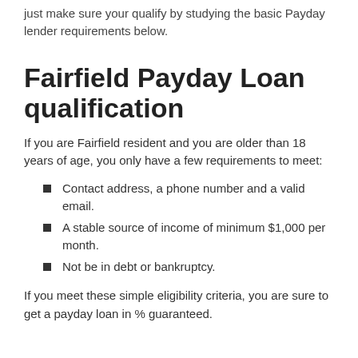just make sure you qualify by studying the basic Payday lender requirements below.
Fairfield Payday Loan qualification
If you are Fairfield resident and you are older than 18 years of age, you only have a few requirements to meet:
Contact address, a phone number and a valid email.
A stable source of income of minimum $1,000 per month.
Not be in debt or bankruptcy.
If you meet these simple eligibility criteria, you are sure to get a payday loan in % guaranteed.